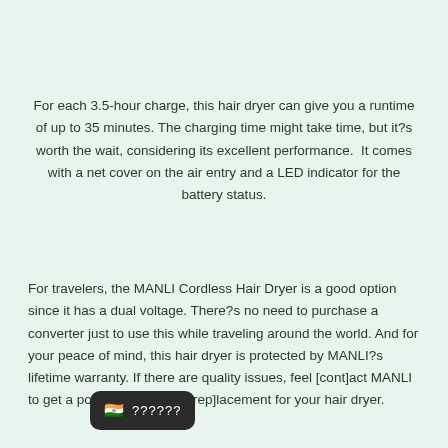For each 3.5-hour charge, this hair dryer can give you a runtime of up to 35 minutes. The charging time might take time, but it?s worth the wait, considering its excellent performance.  It comes with a net cover on the air entry and a LED indicator for the battery status.
For travelers, the MANLI Cordless Hair Dryer is a good option since it has a dual voltage. There?s no need to purchase a converter just to use this while traveling around the world. And for your peace of mind, this hair dryer is protected by MANLI?s lifetime warranty. If there are quality issues, feel [cont]act MANLI to get a potential refund or [rep]lacement for your hair dryer.
[Figure (other): A dark tooltip/popup box showing an Indian flag emoji and the text '??????' in white on dark background]